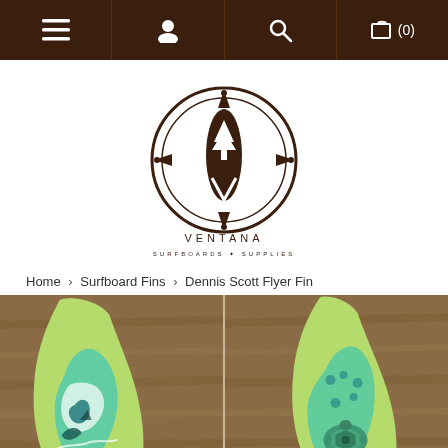[Figure (screenshot): Navigation bar with menu, user, search, and cart icons on dark brown background]
[Figure (logo): Ventana Surfboards & Supplies logo — circular badge with surfboard and pine tree motif]
Home > Surfboard Fins > Dennis Scott Flyer Fin
[Figure (photo): Two surfboard fins with colorful ocean-themed artwork (sharks, sea turtles, waves) displayed against wooden background]